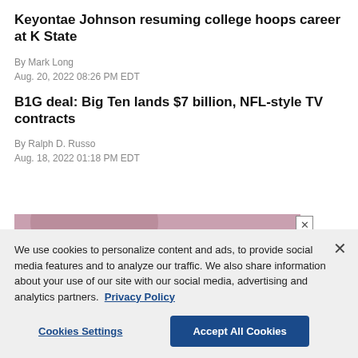Keyontae Johnson resuming college hoops career at K State
By Mark Long
Aug. 20, 2022 08:26 PM EDT
B1G deal: Big Ten lands $7 billion, NFL-style TV contracts
By Ralph D. Russo
Aug. 18, 2022 01:18 PM EDT
[Figure (photo): Pink-toned advertisement image with a person with blonde hair, partially visible. An X close button is in the top right corner.]
We use cookies to personalize content and ads, to provide social media features and to analyze our traffic. We also share information about your use of our site with our social media, advertising and analytics partners. Privacy Policy
Cookies Settings | Accept All Cookies